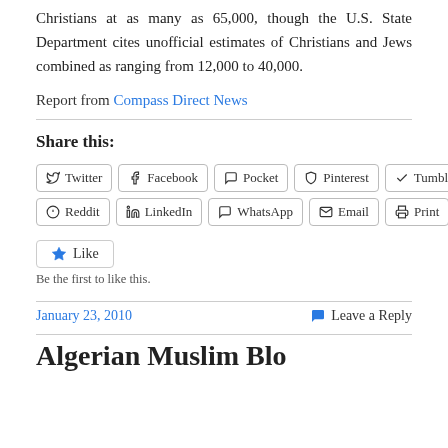Christians at as many as 65,000, though the U.S. State Department cites unofficial estimates of Christians and Jews combined as ranging from 12,000 to 40,000.
Report from Compass Direct News
Share this:
[Figure (other): Social share buttons: Twitter, Facebook, Pocket, Pinterest, Tumblr, Reddit, LinkedIn, WhatsApp, Email, Print]
[Figure (other): Like button with star icon]
Be the first to like this.
January 23, 2010   Leave a Reply
Algerian Muslim Blo...